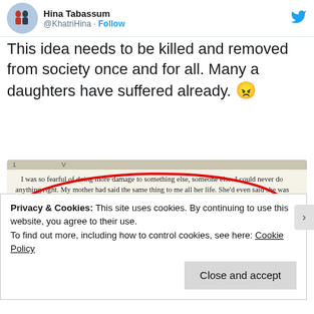Hina Tabassum @KhatriHina · Follow
This idea needs to be killed and removed from society once and for all. Many a daughters have suffered already. 😠
[Figure (photo): Screenshot of a book page with a red circle drawn around a passage. The circled text reads: 'I was so fearful of doing more damage to something else, someone else. I could never do anything right. My mother had said the same thing to me all her life. She'd even said she was glad that someone was marrying me and taking me off her hands. A daughter was a huge responsibility.' Below the circle, partially visible text reads: 'of the country in a toneless, matter-of-fact voice. He had this need to impart information to me according to his perspective, lest I make up my own mind about it.']
Privacy & Cookies: This site uses cookies. By continuing to use this website, you agree to their use.
To find out more, including how to control cookies, see here: Cookie Policy
Close and accept